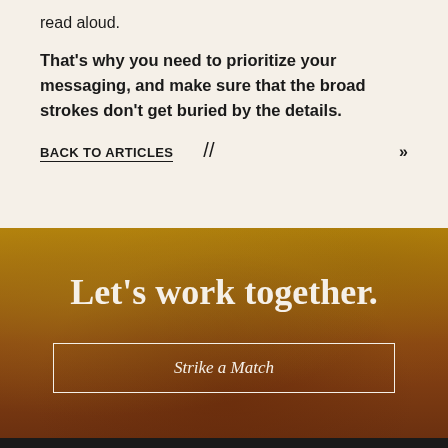read aloud.
That's why you need to prioritize your messaging, and make sure that the broad strokes don't get buried by the details.
BACK TO ARTICLES // »
[Figure (photo): Textured earthy background in shades of brown, rust, and ochre/golden yellow, with a large serif heading 'Let's work together.' and a button labeled 'Strike a Match' with a white rectangular border.]